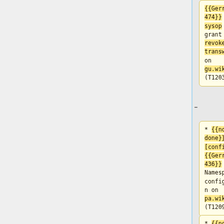{{Gerrit|258474}} Allow sysop to grant and revoke transwiki on gu.wikipedia (T120346)
* {{not done}} [config] {{Gerrit|258436}} Namespace configuration on pa.wikipedia (T120936)
* {{not